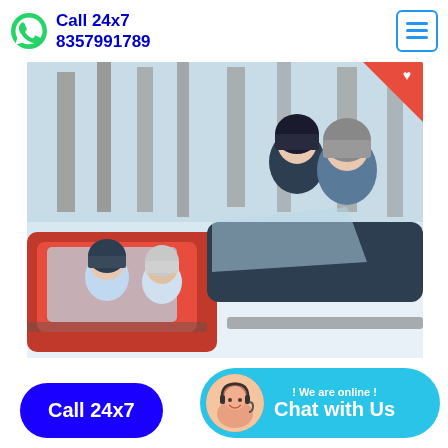Call 24x7 8357991789
[Figure (photo): Family on a snowmobile in a winter forest. Two adults wearing helmets sit on the snowmobile, while two children in helmets ride in a red enclosed sled attached to the snowmobile.]
Call 24x7
! We are online ! Chat with Us